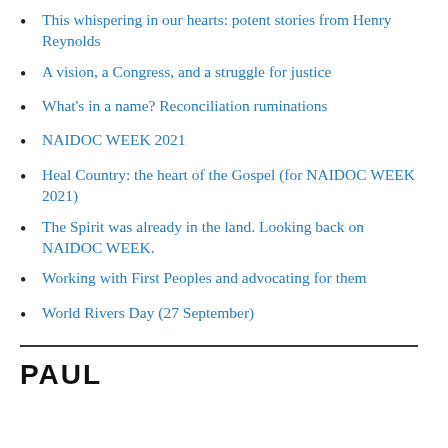This whispering in our hearts: potent stories from Henry Reynolds
A vision, a Congress, and a struggle for justice
What's in a name? Reconciliation ruminations
NAIDOC WEEK 2021
Heal Country: the heart of the Gospel (for NAIDOC WEEK 2021)
The Spirit was already in the land. Looking back on NAIDOC WEEK.
Working with First Peoples and advocating for them
World Rivers Day (27 September)
PAUL